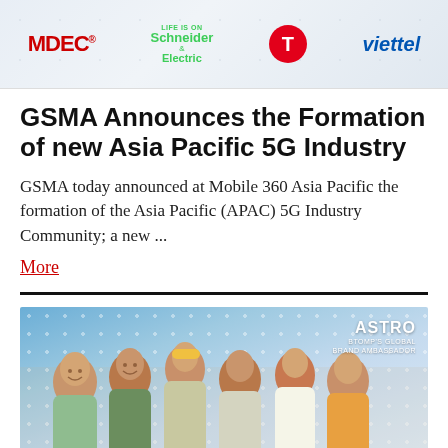[Figure (logo): Sponsor banner with logos: MDEC, Schneider Electric (Life is On), a red circular T logo, and Viettel, on a light blue-grey dotted network background]
GSMA Announces the Formation of new Asia Pacific 5G Industry
GSMA today announced at Mobile 360 Asia Pacific the formation of the Asia Pacific (APAC) 5G Industry Community; a new ...
More
[Figure (photo): Group photo of six young men (K-pop group ASTRO) posing together in a colorful room with a blue dot-pattern wall background. ASTRO brand ambassador badge in top right corner.]